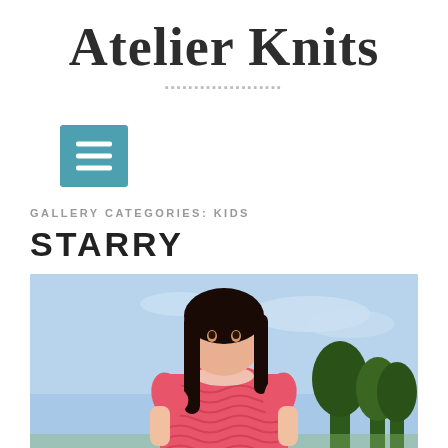Atelier Knits
▪▪▪▪▪▪▪▪▪▪▪▪▪▪▪▪▪▪▪▪
[Figure (other): Hamburger menu button, teal/blue square with three white horizontal lines]
GALLERY CATEGORIES: KIDS
STARRY
[Figure (photo): A child wearing a pink/coral knitted short-sleeve top, photographed outdoors with blue sky and trees in the background]